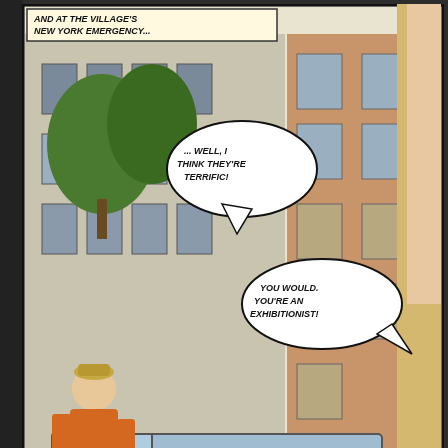[Figure (illustration): A vintage comic book panel showing a New York City street scene. A man in an orange jacket and hat stands on the left. A blue delivery van and yellow taxi are in the street. A building is in the background with trees. Two speech bubbles read: '... WELL, I THINK THEY'RE TERRIFIC!' and 'YOU WOULD. YOU'RE AN EXHIBITIONIST!' Text at top reads 'AND AT THE VILLAGE'S NEW YORK EMERGENCY...'. A woman's arm/figure is partially visible on the right edge.]
This first picture was taken from the awesome Dimestore Dames column... image above to go to the
[Figure (illustration): Bottom portion of a second comic panel with green/yellow coloring, partially visible at bottom right of page.]